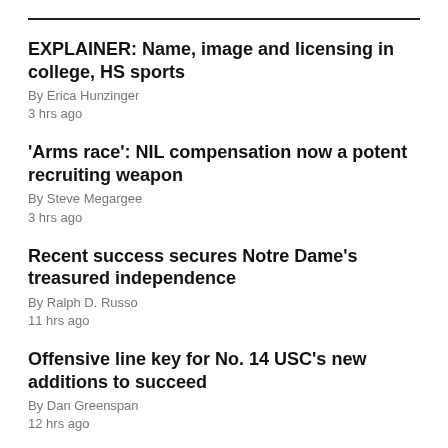EXPLAINER: Name, image and licensing in college, HS sports
By Erica Hunzinger
3 hrs ago
'Arms race': NIL compensation now a potent recruiting weapon
By Steve Megargee
3 hrs ago
Recent success secures Notre Dame's treasured independence
By Ralph D. Russo
11 hrs ago
Offensive line key for No. 14 USC's new additions to succeed
By Dan Greenspan
12 hrs ago